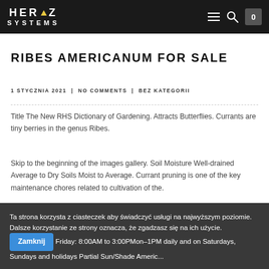HERTZ SYSTEMS
RIBES AMERICANUM FOR SALE
1 STYCZNIA 2021 | NO COMMENTS | BEZ KATEGORII
Title The New RHS Dictionary of Gardening. Attracts Butterflies. Currants are tiny berries in the genus Ribes.
Skip to the beginning of the images gallery. Soil Moisture Well-drained Average to Dry Soils Moist to Average. Currant pruning is one of the key maintenance chores related to cultivation of the...
Ta strona korzysta z ciasteczek aby świadczyć usługi na najwyższym poziomie. Dalsze korzystanie ze strony oznacza, że zgadzasz się na ich użycie. Zamknij Friday: 8:00AM to 3:00PM...